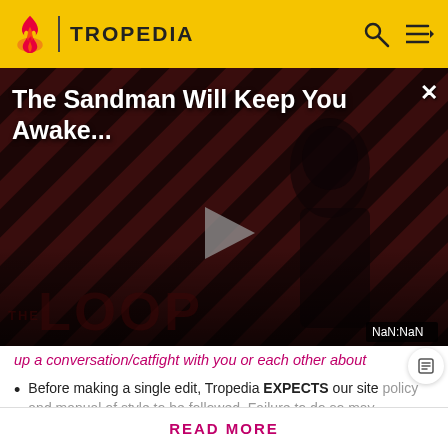TROPEDIA
[Figure (screenshot): Video player overlay showing 'The Sandman Will Keep You Awake...' title with a dark-themed figure, striped background, play button, THE LOOP watermark, and NaN:NaN timestamp badge.]
up a conversation/catfight with you or each other about random personal issues). -Baldur's Gate
Before making a single edit, Tropedia EXPECTS our site policy and manual of style to be followed. Failure to do so may
READ MORE